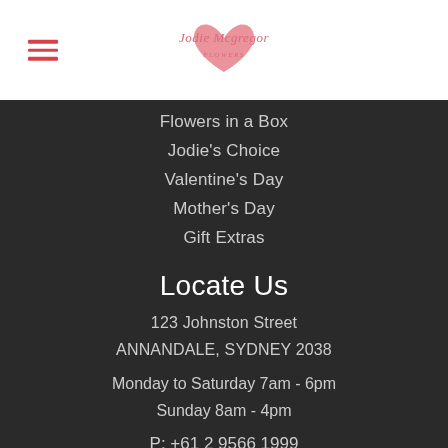[Figure (logo): Jodie Mcgregor Flowers script logo in pink/coral with a heart shape, on white background]
Flowers in a Box
Jodie's Choice
Valentine's Day
Mother's Day
Gift Extras
Locate Us
123 Johnston Street
ANNANDALE, SYDNEY 2038
Monday to Saturday 7am - 6pm
Sunday 8am - 4pm
P: +61 2 9566 1999
flowers@jodie.com.au